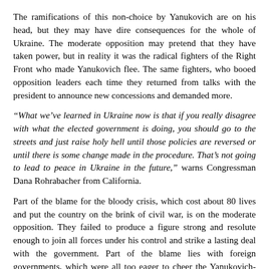The ramifications of this non-choice by Yanukovich are on his head, but they may have dire consequences for the whole of Ukraine. The moderate opposition may pretend that they have taken power, but in reality it was the radical fighters of the Right Front who made Yanukovich flee. The same fighters, who booed opposition leaders each time they returned from talks with the president to announce new concessions and demanded more.
“What we’ve learned in Ukraine now is that if you really disagree with what the elected government is doing, you should go to the streets and just raise holy hell until those policies are reversed or until there is some change made in the procedure. That’s not going to lead to peace in Ukraine in the future,” warns Congressman Dana Rohrabacher from California.
Part of the blame for the bloody crisis, which cost about 80 lives and put the country on the brink of civil war, is on the moderate opposition. They failed to produce a figure strong and resolute enough to join all forces under his control and strike a lasting deal with the government. Part of the blame lies with foreign governments, which were all too eager to cheer the Yanukovich-bashing crowds and turn a blind eye to the radical part of the protest and the violence. But it was the duty of Yanukovich to prevent the situation from spiraling out of control. A duty he utterly failed.
Source: http://rt.com/news/yanukovich-failure-ukraine-crisis-264/